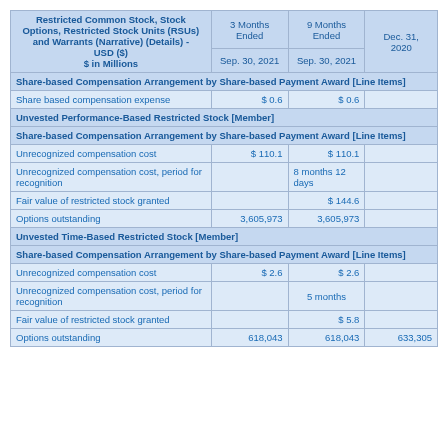| Restricted Common Stock, Stock Options, Restricted Stock Units (RSUs) and Warrants (Narrative) (Details) - USD ($) $ in Millions | 3 Months Ended Sep. 30, 2021 | 9 Months Ended Sep. 30, 2021 | Dec. 31, 2020 |
| --- | --- | --- | --- |
| Share-based Compensation Arrangement by Share-based Payment Award [Line Items] |  |  |  |
| Share based compensation expense | $ 0.6 | $ 0.6 |  |
| Unvested Performance-Based Restricted Stock [Member] |  |  |  |
| Share-based Compensation Arrangement by Share-based Payment Award [Line Items] |  |  |  |
| Unrecognized compensation cost | $ 110.1 | $ 110.1 |  |
| Unrecognized compensation cost, period for recognition |  | 8 months 12 days |  |
| Fair value of restricted stock granted |  | $ 144.6 |  |
| Options outstanding | 3,605,973 | 3,605,973 |  |
| Unvested Time-Based Restricted Stock [Member] |  |  |  |
| Share-based Compensation Arrangement by Share-based Payment Award [Line Items] |  |  |  |
| Unrecognized compensation cost | $ 2.6 | $ 2.6 |  |
| Unrecognized compensation cost, period for recognition |  | 5 months |  |
| Fair value of restricted stock granted |  | $ 5.8 |  |
| Options outstanding | 618,043 | 618,043 | 633,305 |